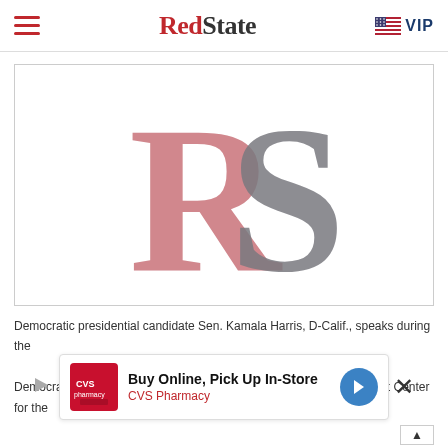RedState VIP
[Figure (logo): RedState website logo image placeholder showing large overlapping 'R' in pink/salmon color and 'S' in grey, the RedState website branding logo]
Democratic presidential candidate Sen. Kamala Harris, D-Calif., speaks during the Democratic primary debate hosted by NBC News at the Adrienne Arsht Center for the
[Figure (infographic): CVS Pharmacy advertisement banner: Buy Online, Pick Up In-Store. CVS Pharmacy logo on left, navigation arrow icon on right.]